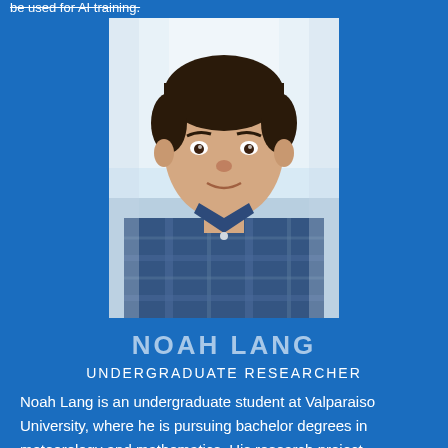be used for AI training.
[Figure (photo): Headshot of Noah Lang, a young man with dark hair wearing a blue plaid shirt, photographed against a light blue/white background.]
NOAH LANG
UNDERGRADUATE RESEARCHER
Noah Lang is an undergraduate student at Valparaiso University, where he is pursuing bachelor degrees in meteorology and mathematics. His research project